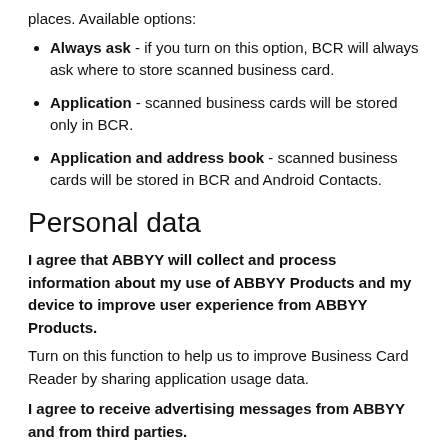places. Available options:
Always ask - if you turn on this option, BCR will always ask where to store scanned business card.
Application - scanned business cards will be stored only in BCR.
Application and address book - scanned business cards will be stored in BCR and Android Contacts.
Personal data
I agree that ABBYY will collect and process information about my use of ABBYY Products and my device to improve user experience from ABBYY Products.
Turn on this function to help us to improve Business Card Reader by sharing application usage data.
I agree to receive advertising messages from ABBYY and from third parties.
Turn on this function to...